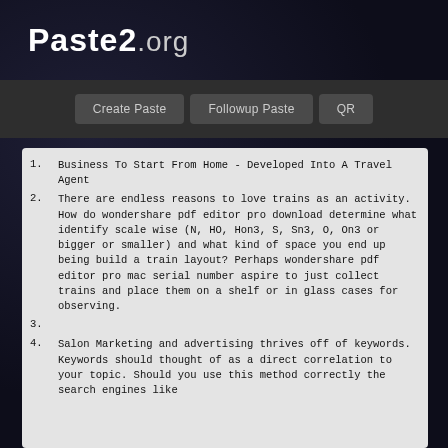Paste2.org
[Figure (screenshot): Navigation bar with buttons: Create Paste, Followup Paste, QR]
1. Business To Start From Home - Developed Into A Travel Agent
2. There are endless reasons to love trains as an activity. How do wondershare pdf editor pro download determine what identify scale wise (N, HO, Hon3, S, Sn3, O, On3 or bigger or smaller) and what kind of space you end up being build a train layout? Perhaps wondershare pdf editor pro mac serial number aspire to just collect trains and place them on a shelf or in glass cases for observing.
3.
4. Salon Marketing and advertising thrives off of keywords. Keywords should thought of as a direct correlation to your topic. Should you use this method correctly the search engines like